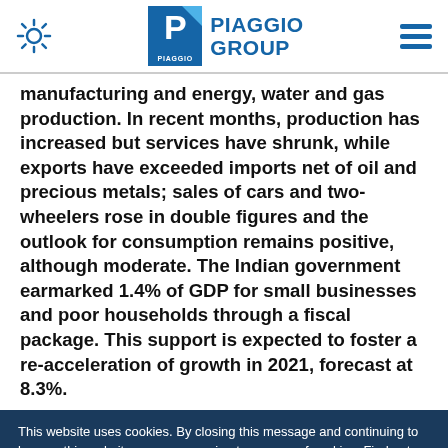Piaggio Group
manufacturing and energy, water and gas production. In recent months, production has increased but services have shrunk, while exports have exceeded imports net of oil and precious metals; sales of cars and two-wheelers rose in double figures and the outlook for consumption remains positive, although moderate. The Indian government earmarked 1.4% of GDP for small businesses and poor households through a fiscal package. This support is expected to foster a re-acceleration of growth in 2021, forecast at 8.3%.
This website uses cookies. By closing this message and continuing to browse this website you are agreeing to our use of cookies. Find out more by reading our privacy policy.
Yes, I accept | No, i need more informations